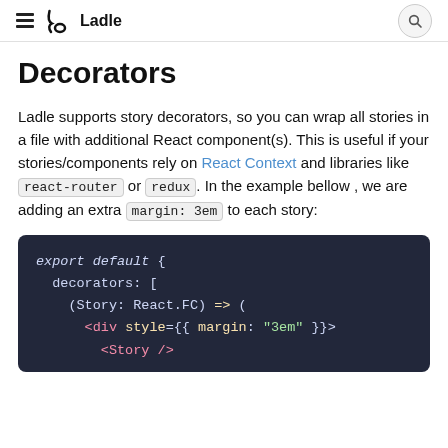Ladle
Decorators
Ladle supports story decorators, so you can wrap all stories in a file with additional React component(s). This is useful if your stories/components rely on React Context and libraries like react-router or redux. In the example bellow , we are adding an extra margin: 3em to each story:
[Figure (screenshot): Code block showing export default with decorators array containing an arrow function with JSX div style margin 3em wrapping Story component]